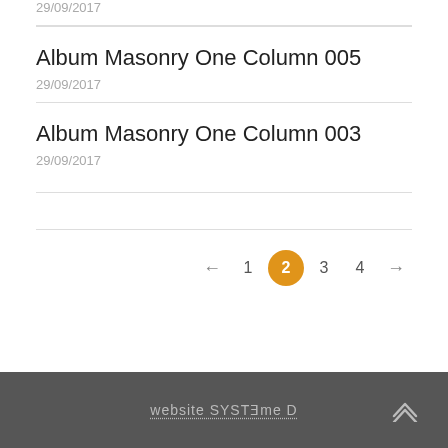29/09/2017
Album Masonry One Column 005
29/09/2017
Album Masonry One Column 003
29/09/2017
← 1 2 3 4 →
website SYSTEME D